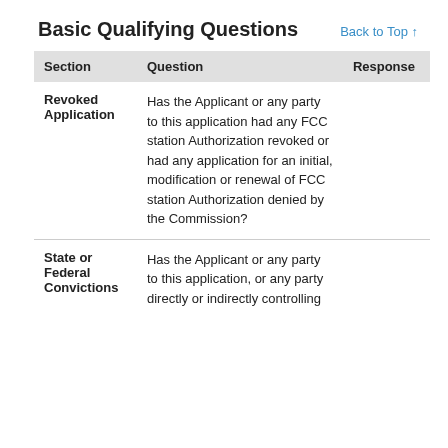Basic Qualifying Questions
Back to Top ↑
| Section | Question | Response |
| --- | --- | --- |
| Revoked Application | Has the Applicant or any party to this application had any FCC station Authorization revoked or had any application for an initial, modification or renewal of FCC station Authorization denied by the Commission? |  |
| State or Federal Convictions | Has the Applicant or any party to this application, or any party directly or indirectly controlling |  |